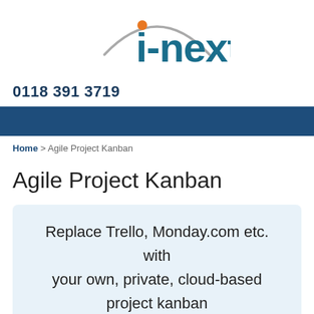[Figure (logo): i-next company logo with orange dot above 'i', grey arc above, teal/dark blue text]
0118 391 3719
[Figure (other): Dark blue navigation banner bar]
Home > Agile Project Kanban
Agile Project Kanban
Replace Trello, Monday.com etc. with your own, private, cloud-based project kanban